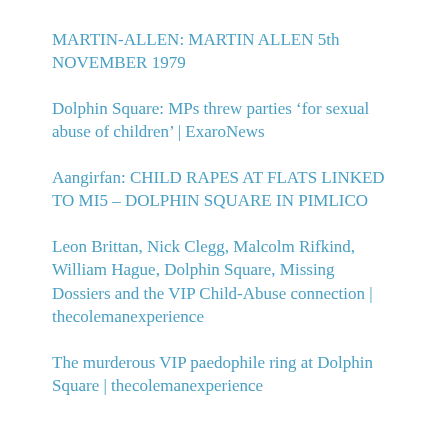MARTIN-ALLEN: MARTIN ALLEN 5th NOVEMBER 1979
Dolphin Square: MPs threw parties ‘for sexual abuse of children’ | ExaroNews
Aangirfan: CHILD RAPES AT FLATS LINKED TO MI5 – DOLPHIN SQUARE IN PIMLICO
Leon Brittan, Nick Clegg, Malcolm Rifkind, William Hague, Dolphin Square, Missing Dossiers and the VIP Child-Abuse connection | thecolemanexperience
The murderous VIP paedophile ring at Dolphin Square | thecolemanexperience